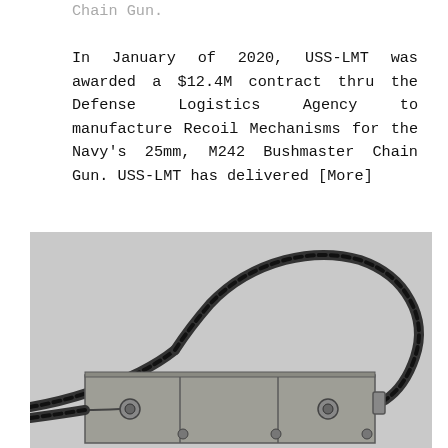Chain Gun.

In January of 2020, USS-LMT was awarded a $12.4M contract thru the Defense Logistics Agency to manufacture Recoil Mechanisms for the Navy's 25mm, M242 Bushmaster Chain Gun. USS-LMT has delivered [More]
[Figure (photo): Photograph of a recoil mechanism assembly for the M242 Bushmaster Chain Gun, showing a rectangular grey metal box with latches and fasteners, with a black ammunition chain/belt looping over the top of the assembly. Background is grey.]